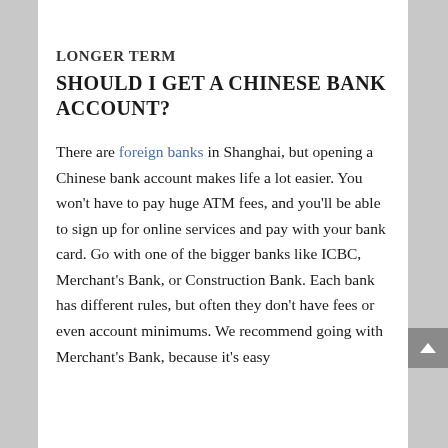LONGER TERM
SHOULD I GET A CHINESE BANK ACCOUNT?
There are foreign banks in Shanghai, but opening a Chinese bank account makes life a lot easier. You won't have to pay huge ATM fees, and you'll be able to sign up for online services and pay with your bank card. Go with one of the bigger banks like ICBC, Merchant's Bank, or Construction Bank. Each bank has different rules, but often they don't have fees or even account minimums. We recommend going with Merchant's Bank, because it's easy